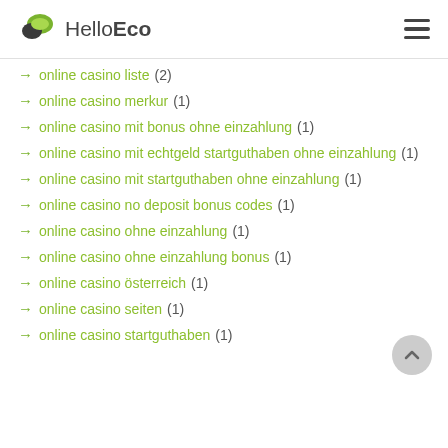HelloEco
→ online casino liste (2)
→ online casino merkur (1)
→ online casino mit bonus ohne einzahlung (1)
→ online casino mit echtgeld startguthaben ohne einzahlung (1)
→ online casino mit startguthaben ohne einzahlung (1)
→ online casino no deposit bonus codes (1)
→ online casino ohne einzahlung (1)
→ online casino ohne einzahlung bonus (1)
→ online casino österreich (1)
→ online casino seiten (1)
→ online casino startguthaben (1)